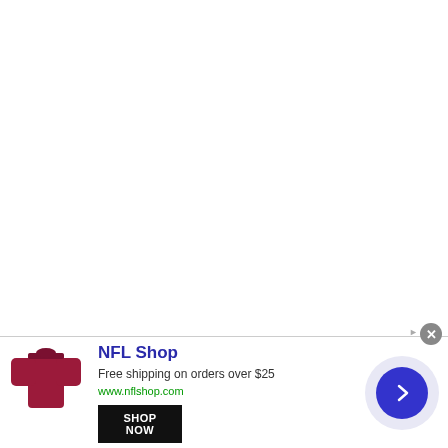[Figure (other): Advertisement banner for NFL Shop. Shows a dark red/crimson colored jersey or garment on the left, with text 'NFL Shop', 'Free shipping on orders over $25', 'www.nflshop.com', a 'SHOP NOW' button, and a blue arrow circle button on the right. A close (X) button appears at top right of the banner.]